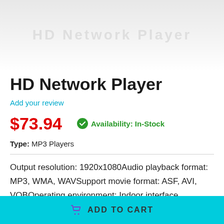[Figure (photo): Product image area showing an HD Network Player device, partially visible with light gray background]
HD Network Player
Add your review
$73.94
Availability: In-Stock
Type: MP3 Players
Output resolution: 1920x1080Audio playback format: MP3, WMA, WAVSupport movie format: ASF, AVI, VOBOperating environment: Indoor interface HDMIMenu language: multiple languagesRemote
ADD TO CART